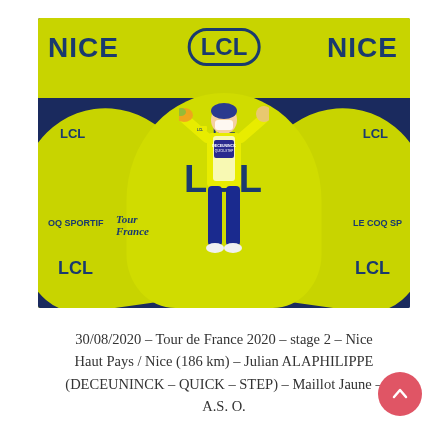[Figure (photo): Julian Alaphilippe standing on the Tour de France 2020 stage 2 podium in Nice, wearing the yellow jersey (Maillot Jaune), arms raised, holding flowers and a stuffed animal, with large yellow LCL-branded jerseys in the background and 'NICE' and 'LCL' signage.]
30/08/2020 – Tour de France 2020 – stage 2 – Nice Haut Pays / Nice (186 km) – Julian ALAPHILIPPE (DECEUNINCK – QUICK – STEP) – Maillot Jaune – A.S. O.